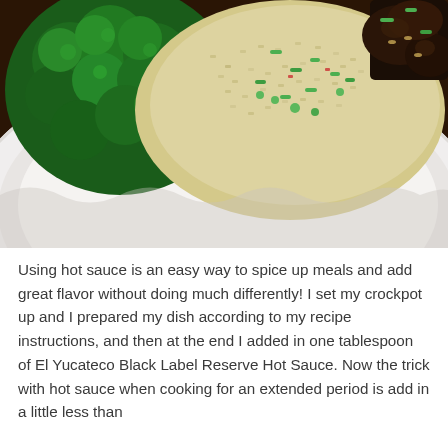[Figure (photo): Close-up photo of a white plate with food: broccoli florets on the left, fried rice with green onions and peas in the center, and dark glazed meat pieces on the right, on a woven mat background.]
Using hot sauce is an easy way to spice up meals and add great flavor without doing much differently! I set my crockpot up and I prepared my dish according to my recipe instructions, and then at the end I added in one tablespoon of El Yucateco Black Label Reserve Hot Sauce. Now the trick with hot sauce when cooking for an extended period is add in a little less than